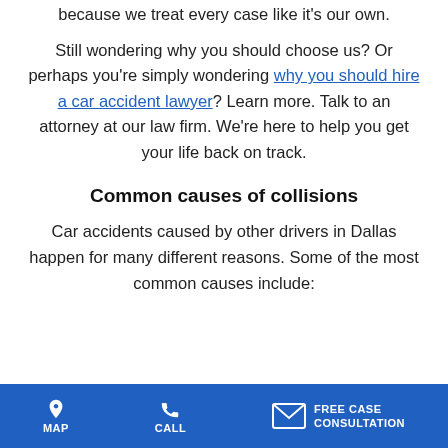because we treat every case like it's our own.
Still wondering why you should choose us? Or perhaps you're simply wondering why you should hire a car accident lawyer? Learn more. Talk to an attorney at our law firm. We're here to help you get your life back on track.
Common causes of collisions
Car accidents caused by other drivers in Dallas happen for many different reasons. Some of the most common causes include:
MAP  CALL  FREE CASE CONSULTATION